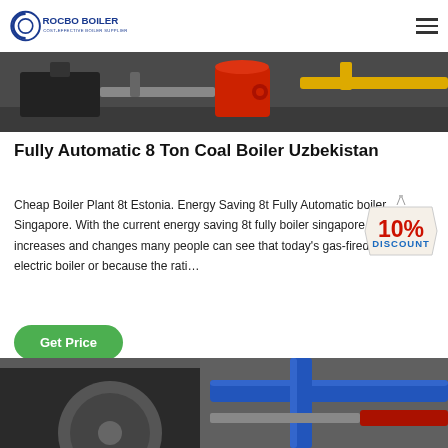ROCBO BOILER — COST-EFFECTIVE BOILER SUPPLIER
[Figure (photo): Photo of industrial boiler equipment with red tank and yellow pipes]
Fully Automatic 8 Ton Coal Boiler Uzbekistan
Cheap Boiler Plant 8t Estonia. Energy Saving 8t Fully Automatic boiler Singapore. With the current energy saving 8t fully boiler singapore energy increases and changes many people can see that today's gas-fired boiler electric boiler or because the rati…
[Figure (infographic): 10% DISCOUNT badge/sticker]
[Figure (photo): Photo of industrial boiler piping with blue pipes and red components]